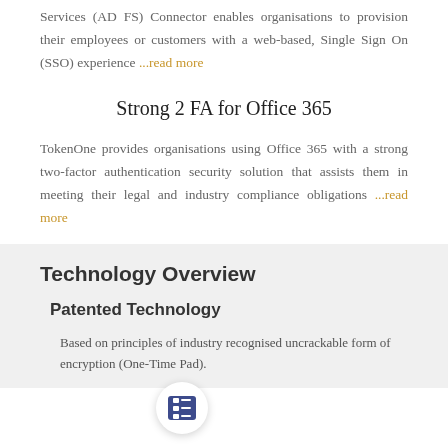Services (AD FS) Connector enables organisations to provision their employees or customers with a web-based, Single Sign On (SSO) experience ...read more
Strong 2 FA for Office 365
TokenOne provides organisations using Office 365 with a strong two-factor authentication security solution that assists them in meeting their legal and industry compliance obligations ...read more
Technology Overview
Patented Technology
Based on principles of industry recognised uncrackable form of encryption (One-Time Pad).